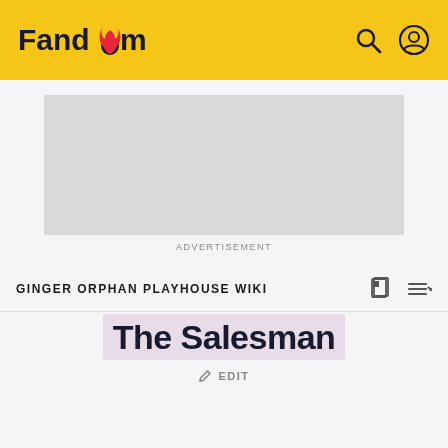Fandom
[Figure (other): Advertisement placeholder (grey rectangle)]
ADVERTISEMENT
GINGER ORPHAN PLAYHOUSE WIKI
The Salesman
EDIT